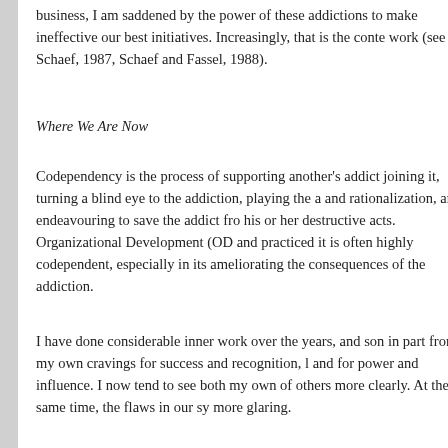business, I am saddened by the power of these addictions to make ineffective our best initiatives. Increasingly, that is the context of my work (see Schaef, 1987, Schaaf and Fassel, 1988).
Where We Are Now
Codependency is the process of supporting another's addict by joining it, turning a blind eye to the addiction, playing the addict and rationalization, and endeavouring to save the addict from his or her destructive acts. Organizational Development (OD) as taught and practiced it is often highly codependent, especially in its focus on ameliorating the consequences of the addiction.
I have done considerable inner work over the years, and some distance in part from my own cravings for success and recognition, l and for power and influence. I now tend to see both my own flaws and those of others more clearly. At the same time, the flaws in our sy seem more glaring.